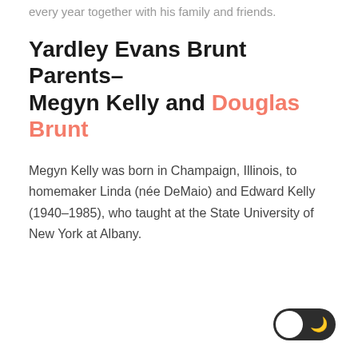every year together with his family and friends.
Yardley Evans Brunt Parents– Megyn Kelly and Douglas Brunt
Megyn Kelly was born in Champaign, Illinois, to homemaker Linda (née DeMaio) and Edward Kelly (1940–1985), who taught at the State University of New York at Albany.